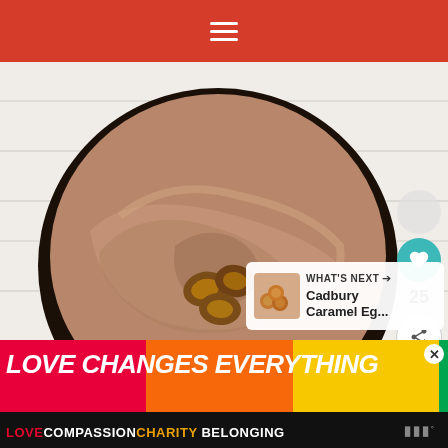Navigation menu header bar
[Figure (photo): Top-down view of a chocolate cream pie in a dark Oreo crust, topped with smooth whipped chocolate mousse and three Cadbury caramel eggs placed in the center, on a white wood background]
[Figure (infographic): Side action buttons: heart/like button (teal circle) with count 25, and share button (white circle with share icon)]
[Figure (infographic): What's Next panel showing thumbnail of Cadbury Caramel Eg... recipe]
[Figure (infographic): Ad banner: LOVE CHANGES EVERYTHING with rainbow colored background, with tagline LOVE COMPASSION CHARITY BELONGING]